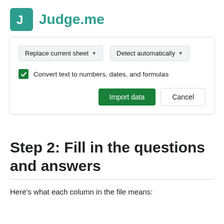[Figure (logo): Judge.me logo: teal square with white J letter, followed by Judge.me text in teal]
[Figure (screenshot): Google Sheets import dialog showing dropdowns 'Replace current sheet' and 'Detect automatically', a checked checkbox 'Convert text to numbers, dates, and formulas', and buttons 'Import data' and 'Cancel']
Step 2: Fill in the questions and answers
Here's what each column in the file means: